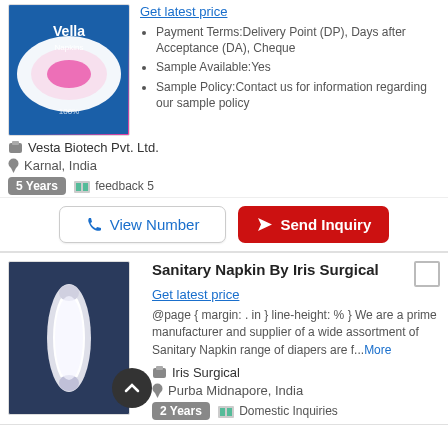[Figure (photo): Product image of Vella sanitary napkin packaging with blue background and brand logo]
Payment Terms:Delivery Point (DP), Days after Acceptance (DA), Cheque
Sample Available:Yes
Sample Policy:Contact us for information regarding our sample policy
Vesta Biotech Pvt. Ltd.
Karnal, India
5 Years   feedback 5
View Number   Send Inquiry
[Figure (photo): Product image of Sanitary Napkin by Iris Surgical on dark blue background]
Sanitary Napkin By Iris Surgical
Get latest price
@page { margin: . in } line-height: % } We are a prime manufacturer and supplier of a wide assortment of Sanitary Napkin range of diapers are f...More
Iris Surgical
Purba Midnapore, India
2 Years   Domestic Inquiries